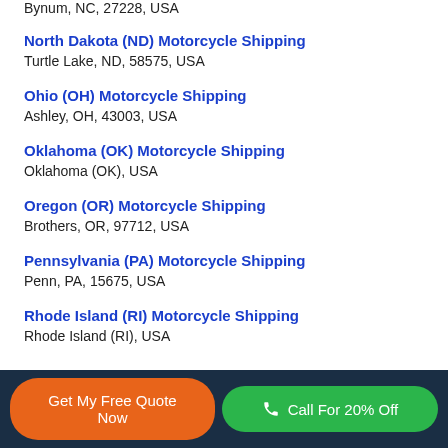Bynum, NC, 27228, USA
North Dakota (ND) Motorcycle Shipping
Turtle Lake, ND, 58575, USA
Ohio (OH) Motorcycle Shipping
Ashley, OH, 43003, USA
Oklahoma (OK) Motorcycle Shipping
Oklahoma (OK), USA
Oregon (OR) Motorcycle Shipping
Brothers, OR, 97712, USA
Pennsylvania (PA) Motorcycle Shipping
Penn, PA, 15675, USA
Rhode Island (RI) Motorcycle Shipping
Rhode Island (RI), USA
Get My Free Quote Now | Call For 20% Off